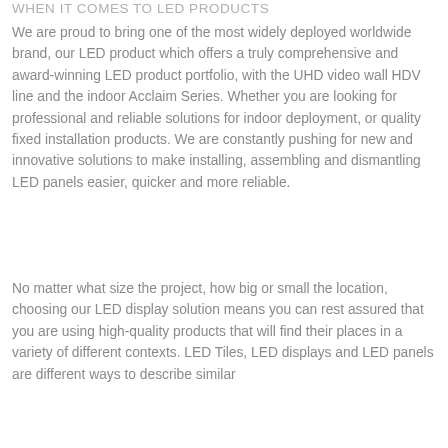WHEN IT COMES TO LED PRODUCTS
We are proud to bring one of the most widely deployed worldwide brand, our LED product which offers a truly comprehensive and award-winning LED product portfolio, with the UHD video wall HDV line and the indoor Acclaim Series. Whether you are looking for professional and reliable solutions for indoor deployment, or quality fixed installation products. We are constantly pushing for new and innovative solutions to make installing, assembling and dismantling LED panels easier, quicker and more reliable.
No matter what size the project, how big or small the location, choosing our LED display solution means you can rest assured that you are using high-quality products that will find their places in a variety of different contexts. LED Tiles, LED displays and LED panels are different ways to describe similar